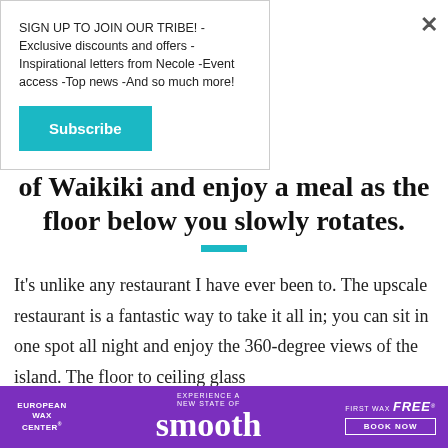SIGN UP TO JOIN OUR TRIBE! -Exclusive discounts and offers -Inspirational letters from Necole -Event access -Top news -And so much more!
Subscribe
of Waikiki and enjoy a meal as the floor below you slowly rotates.
It's unlike any restaurant I have ever been to. The upscale restaurant is a fantastic way to take it all in; you can sit in one spot all night and enjoy the 360-degree views of the island. The floor to ceiling glass
[Figure (infographic): Purple advertisement banner for European Wax Center. Left: 'EUROPEAN WAX CENTER' logo in white. Center: 'EXPERIENCE A NEW STATE OF smooth' in large white text. Right: 'FIRST WAX free BOOK NOW' with a bordered button.]